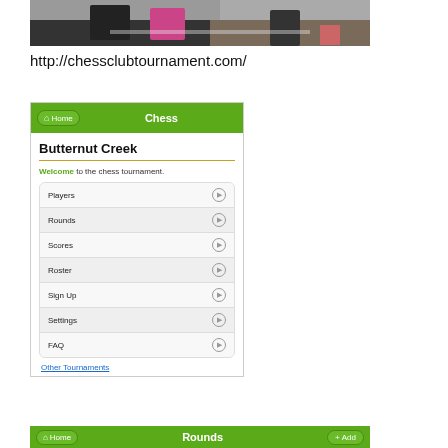[Figure (photo): Photo of people at a chess tournament table, cropped at top]
http://chessclubtournament.com/
[Figure (screenshot): Screenshot of chessclubtournament.com website showing Butternut Creek chess tournament page with navigation menu items: Players, Rounds, Scores, Roster, Sign Up, Settings, FAQ, and Other Tournaments link]
[Figure (screenshot): Bottom navigation bar showing Home, Rounds, and Add buttons on green background]